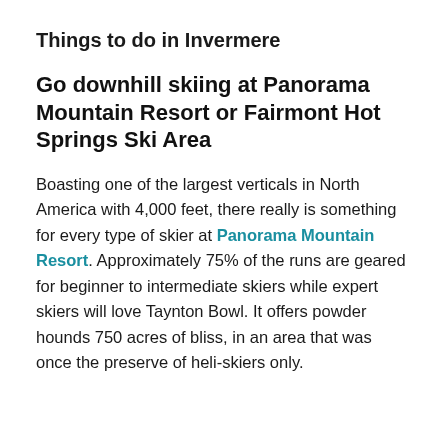Things to do in Invermere
Go downhill skiing at Panorama Mountain Resort or Fairmont Hot Springs Ski Area
Boasting one of the largest verticals in North America with 4,000 feet, there really is something for every type of skier at Panorama Mountain Resort. Approximately 75% of the runs are geared for beginner to intermediate skiers while expert skiers will love Taynton Bowl. It offers powder hounds 750 acres of bliss, in an area that was once the preserve of heli-skiers only.